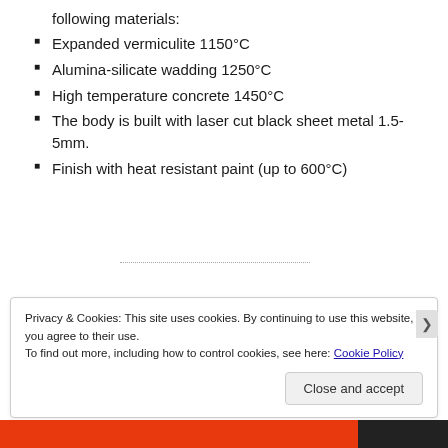following materials:
Expanded vermiculite 1150°C
Alumina-silicate wadding 1250°C
High temperature concrete 1450°C
The body is built with laser cut black sheet metal 1.5-5mm.
Finish with heat resistant paint (up to 600°C)
Privacy & Cookies: This site uses cookies. By continuing to use this website, you agree to their use.
To find out more, including how to control cookies, see here: Cookie Policy